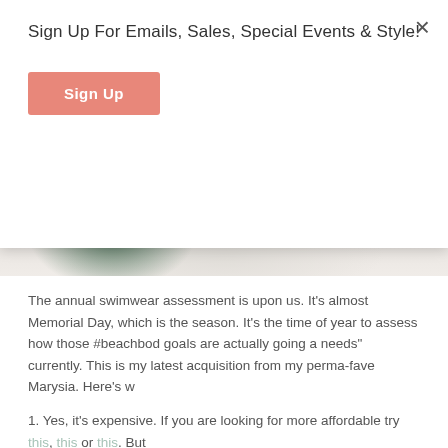Sign Up For Emails, Sales, Special Events & Style!
Sign Up
[Figure (photo): Close-up photo of dark green knit/crochet swimwear fabric on a white textured background]
The annual swimwear assessment is upon us. It's almost Memorial Day, which is the season. It's the time of year to assess how those #beachbod goals are actually going and what "needs" currently. This is my latest acquisition from my perma-fave Marysia. Here's w
1. Yes, it's expensive. If you are looking for more affordable try this, this or this. But
2. Their signature fabric is the most forgiving swim material I've ever encountered.
3. Yes, figuring out the right size or style can be tricky, but once you do you'll be for
Here's what I'd say about the sizing - generally speaking it all runs kinda small. I get definitely skimpier and less supportive than others, but there are some fabulous optio